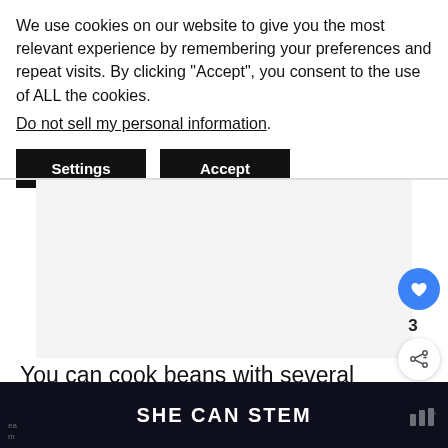We use cookies on our website to give you the most relevant experience by remembering your preferences and repeat visits. By clicking “Accept”, you consent to the use of ALL the cookies.
Do not sell my personal information.
Settings
Accept
[Figure (other): White/light gray blank image area with a blue heart icon button and share icon button on the right side, and a 'What's Next' panel with a strawberry image thumbnail]
3
WHAT'S NEXT → Best Strawberry...
You can cook beans with several cooking methods. Learn how to cook black beans with
SHE CAN STEM